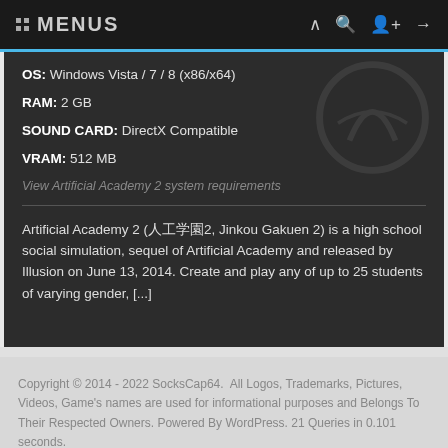:: MENUS
OS: Windows Vista / 7 / 8 (x86/x64)
RAM: 2 GB
SOUND CARD: DirectX Compatible
VRAM: 512 MB
View Artificial Academy 2 system requirements
Artificial Academy 2 (人工学園2, Jinkou Gakuen 2) is a high school social simulation, sequel of Artificial Academy and released by Illusion on June 13, 2014. Create and play any of up to 25 students of varying gender, [...]
Copyright © 2014 - 2022 SocksCap64.  All Logos, Trademarks, Pictures, Videos, Game's names are used for informational purposes and Belongs To Their Respected Owners. Powered By WordPress. 21 Queries in 0.101 seconds.